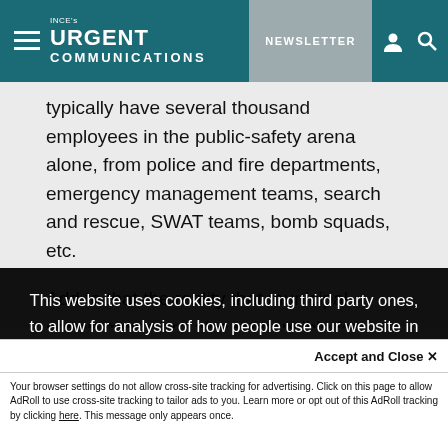INCE's URGENT COMMUNICATIONS — NEWSLETTER
typically have several thousand employees in the public-safety arena alone, from police and fire departments, emergency management teams, search and rescue, SWAT teams, bomb squads, etc.
Add to that the reality that municipal governments are also responsible for waste-water management, delivery
This website uses cookies, including third party ones, to allow for analysis of how people use our website in order to improve your experience and our services. By continuing to use our website, you agree to the use of such cookies. Click here for more information on our Cookie Policy and Privacy Policy
Accept and Close ✕
Your browser settings do not allow cross-site tracking for advertising. Click on this page to allow AdRoll to use cross-site tracking to tailor ads to you. Learn more or opt out of this AdRoll tracking by clicking here. This message only appears once.